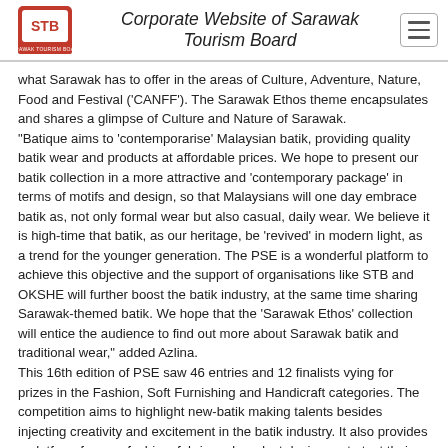Corporate Website of Sarawak Tourism Board
what Sarawak has to offer in the areas of Culture, Adventure, Nature, Food and Festival ('CANFF'). The Sarawak Ethos theme encapsulates and shares a glimpse of Culture and Nature of Sarawak.
“Batique aims to ‘contemporarise’ Malaysian batik, providing quality batik wear and products at affordable prices. We hope to present our batik collection in a more attractive and ‘contemporary package’ in terms of motifs and design, so that Malaysians will one day embrace batik as, not only formal wear but also casual, daily wear. We believe it is high-time that batik, as our heritage, be ‘revived’ in modern light, as a trend for the younger generation. The PSE is a wonderful platform to achieve this objective and the support of organisations like STB and OKSHE will further boost the batik industry, at the same time sharing Sarawak-themed batik. We hope that the ‘Sarawak Ethos’ collection will entice the audience to find out more about Sarawak batik and traditional wear," added Azlina.
This 16th edition of PSE saw 46 entries and 12 finalists vying for prizes in the Fashion, Soft Furnishing and Handicraft categories. The competition aims to highlight new-batik making talents besides injecting creativity and excitement in the batik industry. It also provides a platform for new fashion, fabric and product designers to test their abilities against some of the best talents in the batik industry.
Also present at the event were Minister of Tourism, Arts and Culture (MOTAC) YB Datuk Mohammaddin Bin Ketapi, Secretary General of